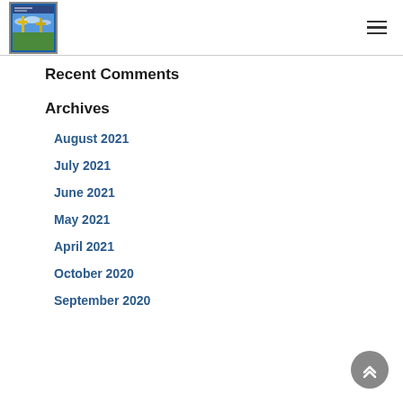Website logo and navigation menu
Recent Comments
Archives
August 2021
July 2021
June 2021
May 2021
April 2021
October 2020
September 2020